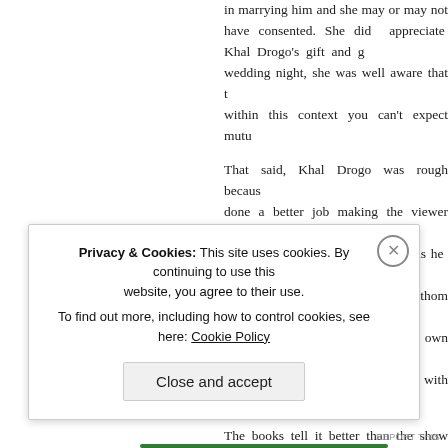in marrying him and she may or may not have consented. She did appreciate Khal Drogo's gift and gesture. On her wedding night, she was well aware that this was rape, and within this context you can't expect mutual pleasure.
That said, Khal Drogo was rough because the show could have done a better job making the viewer aware that Dany felt bad for her. She didn't see Drogo as her rapist attacking her. While this may be hard to fathom now, women had more freedom and say in their own sexual autonomy, leaving room for her to fall in love with him.
The books tell it better than the show because Dany doesn't mostly suffer from the sex she has with Drogo, and does mention once that she doesn't want him to...
Privacy & Cookies: This site uses cookies. By continuing to use this website, you agree to their use.
To find out more, including how to control cookies, see here: Cookie Policy
Close and accept